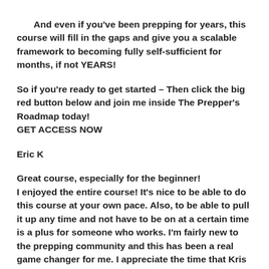And even if you've been prepping for years, this course will fill in the gaps and give you a scalable framework to becoming fully self-sufficient for months, if not YEARS!
So if you're ready to get started – Then click the big red button below and join me inside The Prepper's Roadmap today! GET ACCESS NOW
Eric K
Great course, especially for the beginner!
I enjoyed the entire course! It's nice to be able to do this course at your own pace. Also, to be able to pull it up any time and not have to be on at a certain time is a plus for someone who works. I'm fairly new to the prepping community and this has been a real game changer for me. I appreciate the time that Kris has